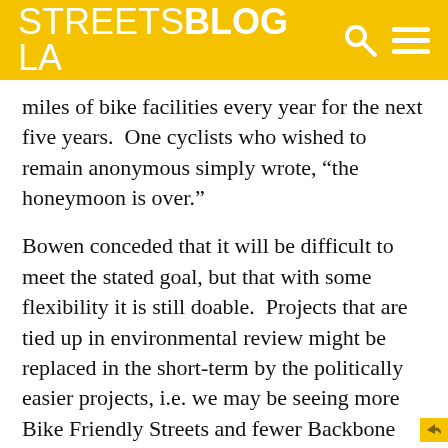STREETSBLOG LA
miles of bike facilities every year for the next five years.  One cyclists who wished to remain anonymous simply wrote, “the honeymoon is over.”
Bowen conceded that it will be difficult to meet the stated goal, but that with some flexibility it is still doable.  Projects that are tied up in environmental review might be replaced in the short-term by the politically easier projects, i.e. we may be seeing more Bike Friendly Streets and fewer Backbone Bikeway Network projects in the next couple of years.
Back when I was an advocate in New Jersey, a State Senator once told me that if we couldn’t defeat a project, we should focus on “studying it to death.”  I’m